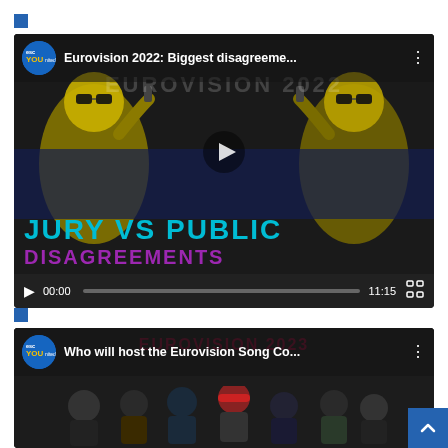[Figure (screenshot): YouTube video thumbnail for 'Eurovision 2022: Biggest disagreeme...' showing animated characters with text JURY VS PUBLIC DISAGREEMENTS. Video controls show 00:00 / 11:15.]
[Figure (screenshot): YouTube video thumbnail for 'Who will host the Eurovision Song Co...' showing a group photo of people. Partially visible at bottom of page.]